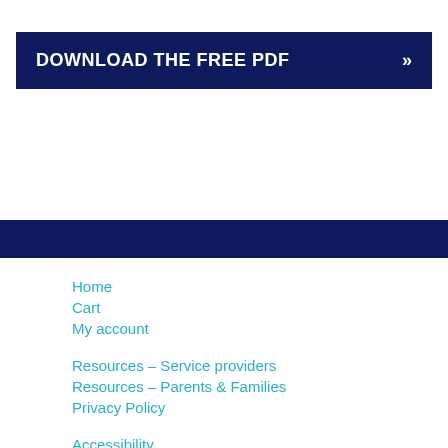DOWNLOAD THE FREE PDF >>
Home
Cart
My account
Resources – Service providers
Resources – Parents & Families
Privacy Policy
Accessibility